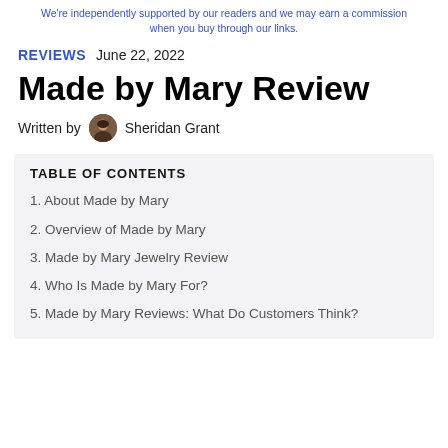We're independently supported by our readers and we may earn a commission when you buy through our links.
REVIEWS   June 22, 2022
Made by Mary Review
Written by Sheridan Grant
TABLE OF CONTENTS
1. About Made by Mary
2. Overview of Made by Mary
3. Made by Mary Jewelry Review
4. Who Is Made by Mary For?
5. Made by Mary Reviews: What Do Customers Think?